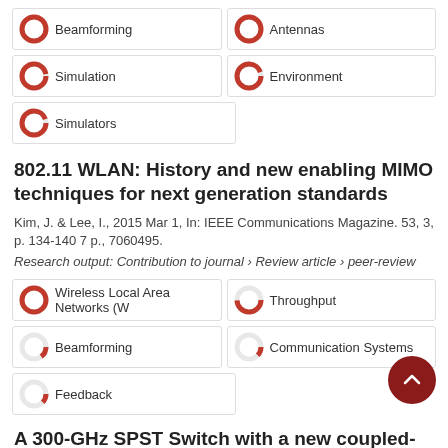Beamforming
Antennas
Simulation
Environment
Simulators
802.11 WLAN: History and new enabling MIMO techniques for next generation standards
Kim, J. & Lee, I., 2015 Mar 1, In: IEEE Communications Magazine. 53, 3, p. 134-140 7 p., 7060495.
Research output: Contribution to journal › Review article › peer-review
Wireless Local Area Networks (W
Throughput
Beamforming
Communication Systems
Feedback
A 300-GHz SPST Switch with a new coupled-line topology in 65-nm CMOS technology